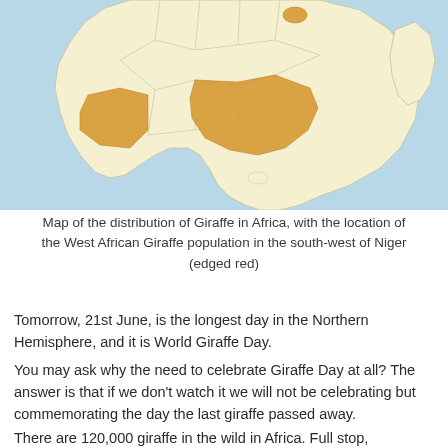[Figure (map): Map of the distribution of Giraffe in Africa, showing southern and central African countries. Orange/golden highlighted regions indicate giraffe populations. Light cream colored landmass on light blue background.]
Map of the distribution of Giraffe in Africa, with the location of the West African Giraffe population in the south-west of Niger (edged red)
Tomorrow, 21st June, is the longest day in the Northern Hemisphere, and it is World Giraffe Day.
You may ask why the need to celebrate Giraffe Day at all? The answer is that if we don't watch it we will not be celebrating but commemorating the day the last giraffe passed away.
There are 120,000 giraffe in the wild in Africa. Full stop,